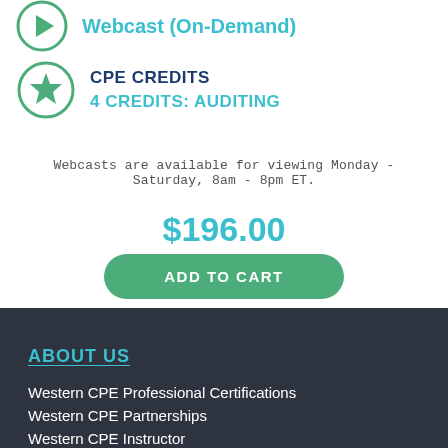Webcast (On-Demand)
CPE CREDITS
4 CREDITS: AUDITING
Webcasts are available for viewing Monday - Saturday, 8am - 8pm ET.
$196.00
ADD TO CART
ABOUT US
Western CPE Professional Certifications
Western CPE Partnerships
Western CPE Instructor